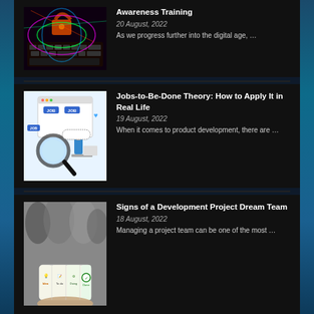[Figure (illustration): Cybersecurity themed image with keyboard, padlock, and colorful neon laser lights on dark background]
Awareness Training
20 August, 2022
As we progress further into the digital age, …
[Figure (illustration): Jobs-to-be-done illustration with JOB tags, magnifying glass, and person working at computer]
Jobs-to-Be-Done Theory: How to Apply It in Real Life
19 August, 2022
When it comes to product development, there are …
[Figure (photo): Person holding cards showing idea, To-do, Doing, Done workflow stages with blurred people in background]
Signs of a Development Project Dream Team
18 August, 2022
Managing a project team can be one of the most …